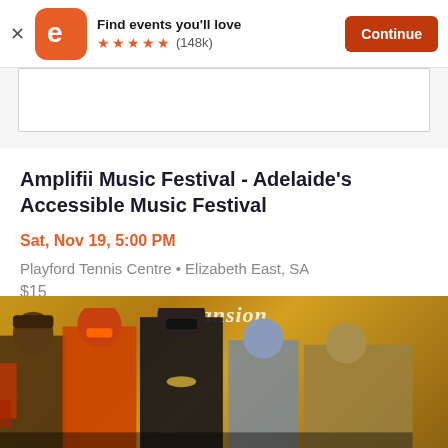Find events you'll love ★★★★★ (148k) Continue
Amplifii Music Festival - Adelaide's Accessible Music Festival
Sat, Nov 19, 5:00 PM
Playford Tennis Centre • Elizabeth East, SA
$15
[Figure (photo): Group of five musicians posed in front of a golden/yellow background with 'Mansion' text visible, wearing colorful outfits and sunglasses]